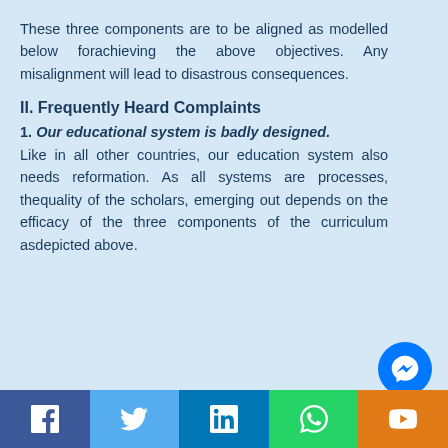These three components are to be aligned as modelled below forachieving the above objectives. Any misalignment will lead to disastrous consequences.
II. Frequently Heard Complaints
1. Our educational system is badly designed. Like in all other countries, our education system also needs reformation. As all systems are processes, thequality of the scholars, emerging out depends on the efficacy of the three components of the curriculum asdepicted above.
Facebook | Twitter | LinkedIn | WhatsApp | YouTube